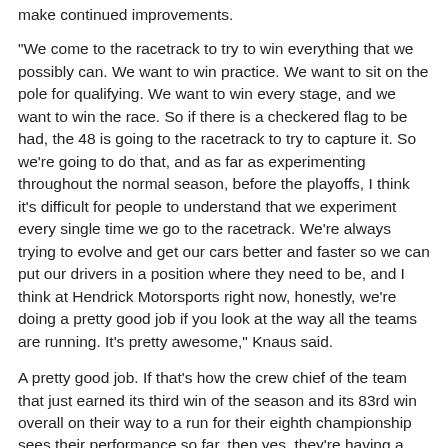make continued improvements.
"We come to the racetrack to try to win everything that we possibly can. We want to win practice. We want to sit on the pole for qualifying. We want to win every stage, and we want to win the race. So if there is a checkered flag to be had, the 48 is going to the racetrack to try to capture it. So we're going to do that, and as far as experimenting throughout the normal season, before the playoffs, I think it's difficult for people to understand that we experiment every single time we go to the racetrack. We're always trying to evolve and get our cars better and faster so we can put our drivers in a position where they need to be, and I think at Hendrick Motorsports right now, honestly, we're doing a pretty good job if you look at the way all the teams are running. It's pretty awesome," Knaus said.
A pretty good job. If that's how the crew chief of the team that just earned its third win of the season and its 83rd win overall on their way to a run for their eighth championship sees their performance so far, then yes, they're having a pretty good year.